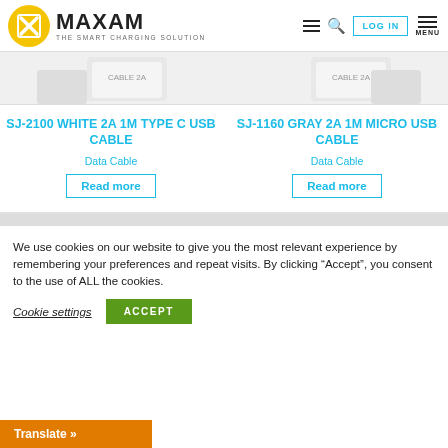[Figure (logo): Maxam logo: yellow circular icon with X mark, bold MAXAM text, tagline THE SMART CHARGING SOLUTION]
[Figure (photo): Product images of USB cables in packaging, partially visible at top of page]
SJ-2100 White 2A 1M TYPE C USB CABLE
SJ-1160 Gray 2A 1M MICRO USB CABLE
Data Cable
Data Cable
Read more
Read more
We use cookies on our website to give you the most relevant experience by remembering your preferences and repeat visits. By clicking “Accept”, you consent to the use of ALL the cookies.
Cookie settings
ACCEPT
Translate »